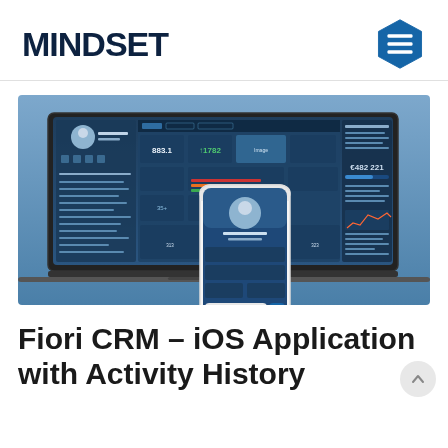MINDSET
[Figure (screenshot): Screenshot of SAP Fiori CRM dashboard on a laptop and iOS mobile app on an iPhone, shown against a blue gradient background. The laptop shows a CRM dashboard with tiles, charts, and data panels. The phone shows a profile screen with a female user photo and login interface.]
Fiori CRM – iOS Application with Activity History